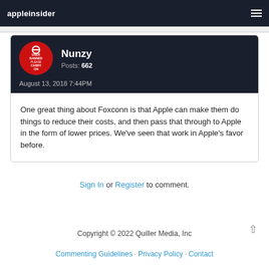appleinsider
Nunzy
Posts: 662
August 13, 2018 7:44PM
One great thing about Foxconn is that Apple can make them do things to reduce their costs, and then pass that through to Apple in the form of lower prices. We've seen that work in Apple's favor before.
Sign In or Register to comment.
Copyright © 2022 Quiller Media, Inc
Commenting Guidelines · Privacy Policy · Contact